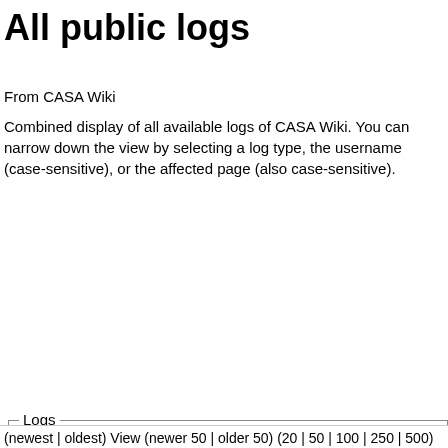All public logs
From CASA Wiki
Combined display of all available logs of CASA Wiki. You can narrow down the view by selecting a log type, the username (case-sensitive), or the affected page (also case-sensitive).
Logs form with: All public logs dropdown, Performer text input, Target (title or User:username for user) text input, Search titles starting with this text checkbox, From year (and earlier) text input, From month (and earlier) dropdown (all), Show tag log link, Go button
(newest | oldest) View (newer 50 | older 50) (20 | 50 | 100 | 250 | 500)